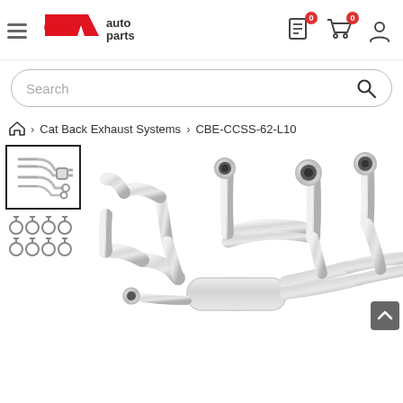[Figure (logo): CA Auto Parts logo with hamburger menu, document icon with badge 0, cart icon with badge 0, and user account icon]
[Figure (screenshot): Search bar with rounded border and magnifying glass icon]
🏠 > Cat Back Exhaust Systems > CBE-CCSS-62-L10
[Figure (photo): Thumbnail image of exhaust system parts (pipes and fittings) with black border, active/selected state]
[Figure (photo): Thumbnail image of hose clamps - multiple clamps arranged in rows]
[Figure (photo): Main large product photo of stainless steel cat-back exhaust system components including pipes, muffler, and tips]